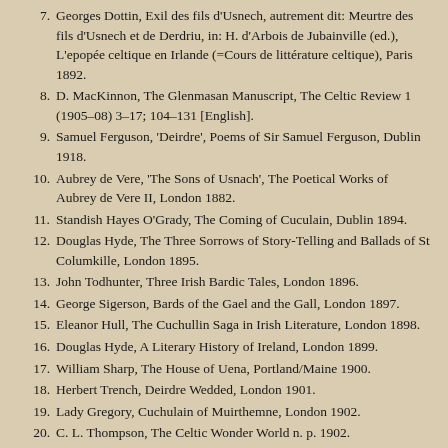7. Georges Dottin, Exil des fils d'Usnech, autrement dit: Meurtre des fils d'Usnech et de Derdriu, in: H. d'Arbois de Jubainville (ed.), L'epopée celtique en Irlande (=Cours de littérature celtique), Paris 1892.
8. D. MacKinnon, The Glenmasan Manuscript, The Celtic Review 1 (1905–08) 3–17; 104–131 [English].
9. Samuel Ferguson, 'Deirdre', Poems of Sir Samuel Ferguson, Dublin 1918.
10. Aubrey de Vere, 'The Sons of Usnach', The Poetical Works of Aubrey de Vere II, London 1882.
11. Standish Hayes O'Grady, The Coming of Cuculain, Dublin 1894.
12. Douglas Hyde, The Three Sorrows of Story-Telling and Ballads of St Columkille, London 1895.
13. John Todhunter, Three Irish Bardic Tales, London 1896.
14. George Sigerson, Bards of the Gael and the Gall, London 1897.
15. Eleanor Hull, The Cuchullin Saga in Irish Literature, London 1898.
16. Douglas Hyde, A Literary History of Ireland, London 1899.
17. William Sharp, The House of Uena, Portland/Maine 1900.
18. Herbert Trench, Deirdre Wedded, London 1901.
19. Lady Gregory, Cuchulain of Muirthemne, London 1902.
20. C. L. Thompson, The Celtic Wonder World n. p. 1902.
21. George William Russell (A.E.), 'Deirdre', Imaginations and Reveries, Dublin 1916.
22. Máire Ni Siúdlaig, 'Deirdre', The Gael (March 1904), 85–86.
23. A. H. Leahy, Ancient Heroic Romances of Ireland II, London